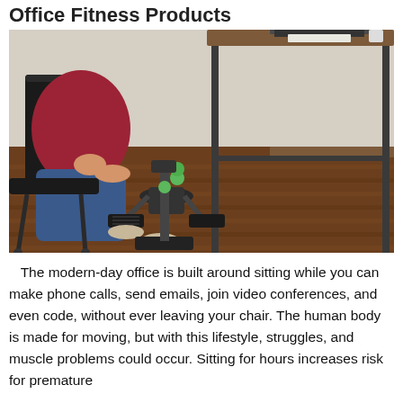Office Fitness Products
[Figure (photo): A woman sitting in a chair using an under-desk pedal exerciser. She is wearing a red top and jeans. A desk with a laptop and notebook is visible to the right. The floor is hardwood.]
The modern-day office is built around sitting while you can make phone calls, send emails, join video conferences, and even code, without ever leaving your chair. The human body is made for moving, but with this lifestyle, struggles, and muscle problems could occur. Sitting for hours increases risk for premature